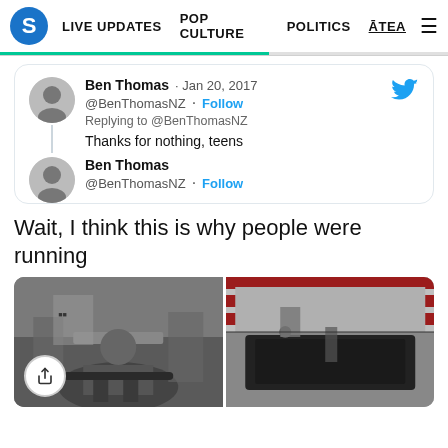S  LIVE UPDATES  POP CULTURE  POLITICS  ĀTEA
Ben Thomas · Jan 20, 2017
@BenThomasNZ · Follow
Replying to @BenThomasNZ
Thanks for nothing, teens
Ben Thomas
@BenThomasNZ · Follow
Wait, I think this is why people were running
[Figure (photo): Two photos side by side: left shows protesters crouching around a fire on the ground with a sign visible; right shows a crowd on a sidewalk near a black limousine.]